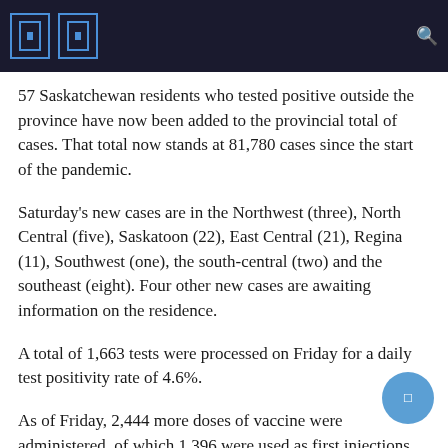57 Saskatchewan residents who tested positive outside the province have now been added to the provincial total of cases. That total now stands at 81,780 cases since the start of the pandemic.
Saturday's new cases are in the Northwest (three), North Central (five), Saskatoon (22), East Central (21), Regina (11), Southwest (one), the south-central (two) and the southeast (eight). Four other new cases are awaiting information on the residence.
A total of 1,663 tests were processed on Friday for a daily test positivity rate of 4.6%.
As of Friday, 2,444 more doses of vaccine were administered, of which 1,396 were used as first injections as the rollout of immunization for children aged 5 to 11